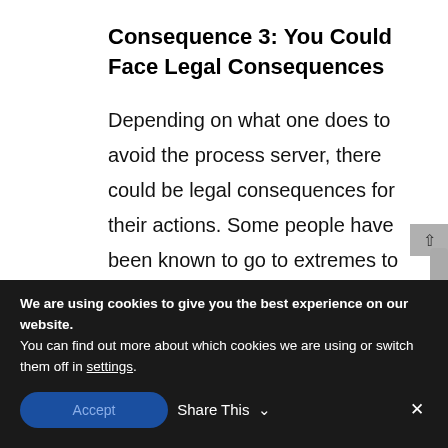Consequence 3: You Could Face Legal Consequences
Depending on what one does to avoid the process server, there could be legal consequences for their actions. Some people have been known to go to extremes to hide their identity or to escape detection – simply to delay a legal proceeding (because avoiding
We are using cookies to give you the best experience on our website.
You can find out more about which cookies we are using or switch them off in settings.